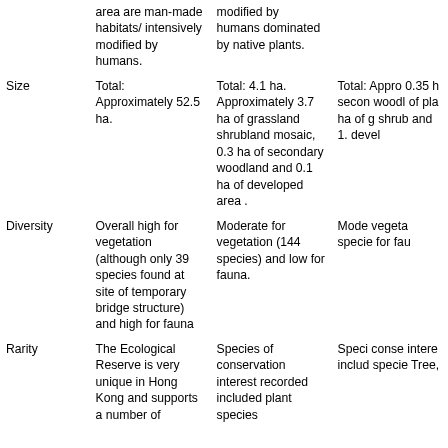|  | Column2 | Column3 | Column4 |
| --- | --- | --- | --- |
|  | area are man-made habitats/ intensively modified by humans. | modified by humans dominated by native plants. |  |
| Size | Total: Approximately 52.5 ha. | Total: 4.1 ha. Approximately 3.7 ha of grassland shrubland mosaic, 0.3 ha of secondary woodland and 0.1 ha of developed area . | Total: Approximately 0.35 ha of secondary woodland, of plants ha of grassland shrubland and 1. developed |
| Diversity | Overall high for vegetation (although only 39 species found at site of temporary bridge structure) and high for fauna | Moderate for vegetation (144 species) and low for fauna. | Moderate for vegetation species for fauna |
| Rarity | The Ecological Reserve is very unique in Hong Kong and supports a number of | Species of conservation interest recorded included plant species | Species conservation interest included species Tree, |